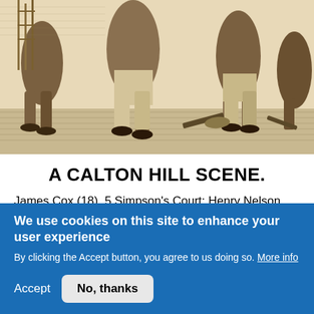[Figure (illustration): Historical engraving/illustration showing figures of people in period clothing, cropped to show lower bodies and legs, with cobblestone ground visible. Sepia/black and white woodcut style.]
A CALTON HILL SCENE.
James Cox (18), 5 Simpson's Court; Henry Nelson (20), 12 Queen's Place; John Dalgleish (22), 5 Queen's Place; and John Milton (18), 4 Mansfield Place were charged with, and admitted, creating a disturbance on the Calton Hill on the
We use cookies on this site to enhance your user experience
By clicking the Accept button, you agree to us doing so. More info
Accept
No, thanks